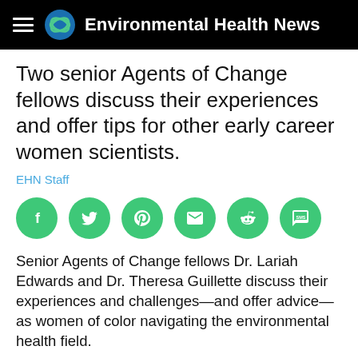Environmental Health News
Two senior Agents of Change fellows discuss their experiences and offer tips for other early career women scientists.
EHN Staff
[Figure (other): Row of six circular green social media share buttons: Facebook, Twitter, Pinterest, Email, Reddit, SMS]
Senior Agents of Change fellows Dr. Lariah Edwards and Dr. Theresa Guillette discuss their experiences and challenges—and offer advice—as women of color navigating the environmental health field.